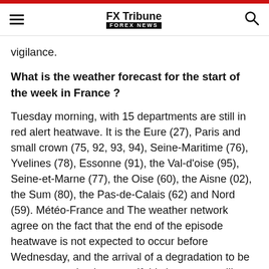FX Tribune FOREX NEWS
vigilance.
What is the weather forecast for the start of the week in France ?
Tuesday morning, with 15 departments are still in red alert heatwave. It is the Eure (27), Paris and small crown (75, 92, 93, 94), Seine-Maritime (76), Yvelines (78), Essonne (91), the Val-d'oise (95), Seine-et-Marne (77), the Oise (60), the Aisne (02), the Sum (80), the Pas-de-Calais (62) and Nord (59). Météo-France and The weather network agree on the fact that the end of the episode heatwave is not expected to occur before Wednesday, and the arrival of a degradation to be a stormy one by the west. If this heat wave will not be a priori not comparable to that of August of